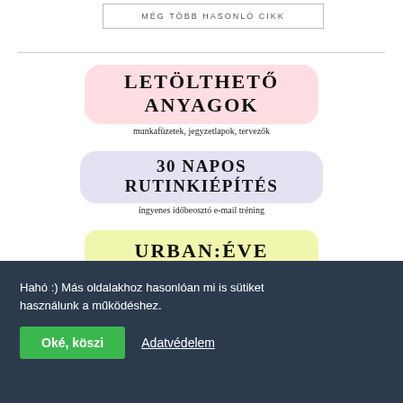MÉG TÖBB HASONLÓ CIKK
[Figure (illustration): Letölthető anyagok banner with pink watercolor background, bold text 'LETÖLTHETŐ ANYAGOK' and subtitle 'munkafüzetek, jegyzetlapok, tervezők']
[Figure (illustration): 30 napos rutinkiépítés banner with purple/lavender watercolor background, bold text '30 NAPOS RUTINKIÉPÍTÉS' and subtitle 'ingyenes időbeosztó e-mail tréning']
[Figure (illustration): Urban:Éve Toplista banner with yellow-green watercolor background, bold text 'URBAN:ÉVE TOPLISTA']
Hahó :) Más oldalakhoz hasonlóan mi is sütiket használunk a működéshez.
Oké, köszi
Adatvédelem